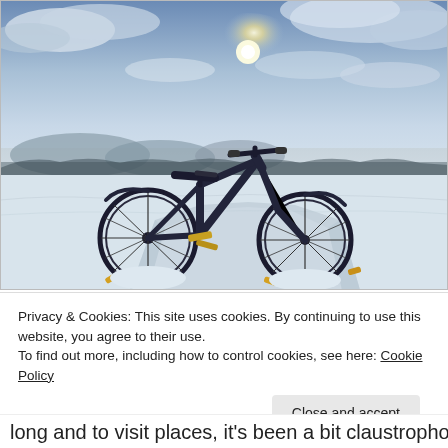[Figure (photo): A mountain bike parked on a snow-covered road/path in a wintry landscape. The bike has yellow pedals and is partially buried in snow. The background shows a flat, snow-covered terrain with scattered dark vegetation, low mountains on the horizon, and a dramatic cloudy sky with the sun breaking through.]
Privacy & Cookies: This site uses cookies. By continuing to use this website, you agree to their use.
To find out more, including how to control cookies, see here: Cookie Policy
Close and accept
long and to visit places, it's been a bit claustrophobic. I